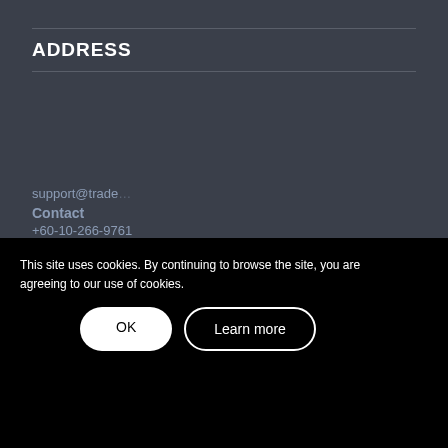ADDRESS
Unit A-16-13, Block A, 16th Floor,
Tropicana Avenue, Persiaran Tropicana,
47410 Petaling Jaya, Selangor, Malaysia
support@trade...
Contact
+60-10-266-9761
This site uses cookies. By continuing to browse the site, you are agreeing to our use of cookies.